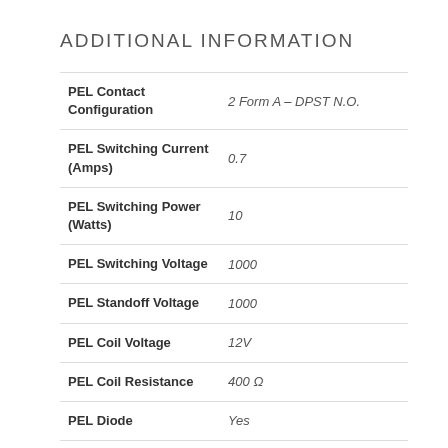ADDITIONAL INFORMATION
| Property | Value |
| --- | --- |
| PEL Contact Configuration | 2 Form A – DPST N.O. |
| PEL Switching Current (Amps) | 0.7 |
| PEL Switching Power (Watts) | 10 |
| PEL Switching Voltage | 1000 |
| PEL Standoff Voltage | 1000 |
| PEL Coil Voltage | 12V |
| PEL Coil Resistance | 400 Ω |
| PEL Diode | Yes |
| PEL Depth (mm) | 3.7 |